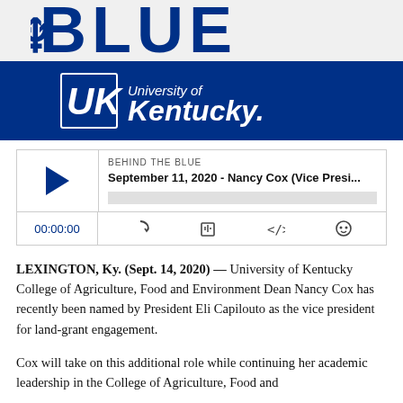[Figure (logo): Partial 'BLUE' text in dark blue large bold letters on light gray background, top portion of 'Behind the Blue' podcast branding]
[Figure (logo): University of Kentucky logo banner: dark blue background with UK interlocking letters emblem and 'University of Kentucky' text in white]
[Figure (screenshot): Podcast player widget for 'Behind the Blue' episode: September 11, 2020 - Nancy Cox (Vice Presi...). Shows play button, progress bar, timestamp 00:00:00, and control icons.]
LEXINGTON, Ky. (Sept. 14, 2020) — University of Kentucky College of Agriculture, Food and Environment Dean Nancy Cox has recently been named by President Eli Capilouto as the vice president for land-grant engagement.
Cox will take on this additional role while continuing her academic leadership in the College of Agriculture, Food and